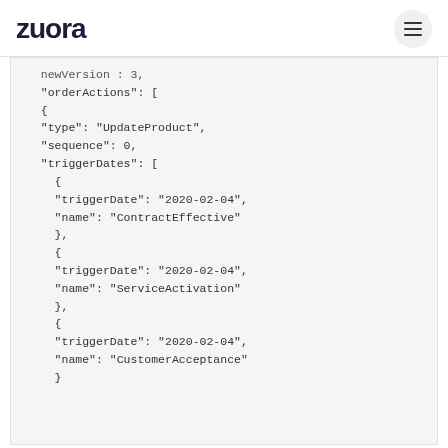Zuora
newVersion : 3,
"orderActions": [
{
"type": "UpdateProduct",
"sequence": 0,
"triggerDates": [
  {
  "triggerDate": "2020-02-04",
  "name": "ContractEffective"
  },
  {
  "triggerDate": "2020-02-04",
  "name": "ServiceActivation"
  },
  {
  "triggerDate": "2020-02-04",
  "name": "CustomerAcceptance"
  }